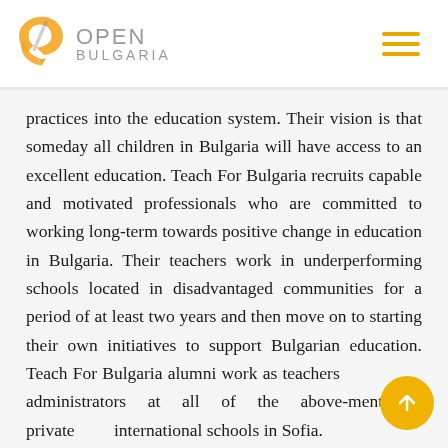OPEN BULGARIA
practices into the education system. Their vision is that someday all children in Bulgaria will have access to an excellent education. Teach For Bulgaria recruits capable and motivated professionals who are committed to working long-term towards positive change in education in Bulgaria. Their teachers work in underperforming schools located in disadvantaged communities for a period of at least two years and then move on to starting their own initiatives to support Bulgarian education. Teach For Bulgaria alumni work as teachers administrators at all of the above-mentioned private international schools in Sofia.